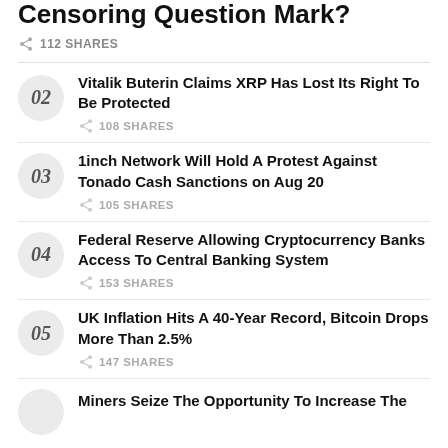Censoring Question Mark?
112 SHARES
02 - Vitalik Buterin Claims XRP Has Lost Its Right To Be Protected - 108 SHARES
03 - 1inch Network Will Hold A Protest Against Tonado Cash Sanctions on Aug 20 - 105 SHARES
04 - Federal Reserve Allowing Cryptocurrency Banks Access To Central Banking System - 153 SHARES
05 - UK Inflation Hits A 40-Year Record, Bitcoin Drops More Than 2.5% - 147 SHARES
Miners Seize The Opportunity To Increase The